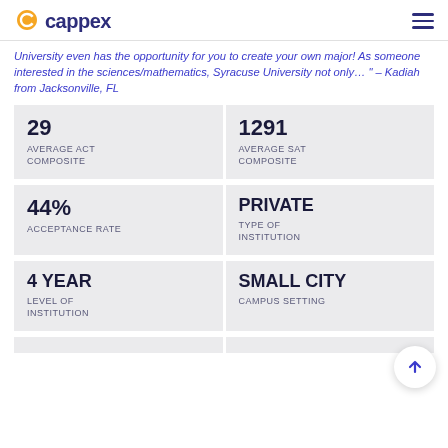cappex
University even has the opportunity for you to create your own major! As someone interested in the sciences/mathematics, Syracuse University not only… " – Kadiah from Jacksonville, FL
| 29
AVERAGE ACT
COMPOSITE | 1291
AVERAGE SAT
COMPOSITE |
| 44%
ACCEPTANCE RATE | PRIVATE
TYPE OF
INSTITUTION |
| 4 YEAR
LEVEL OF
INSTITUTION | SMALL CITY
CAMPUS SETTING |